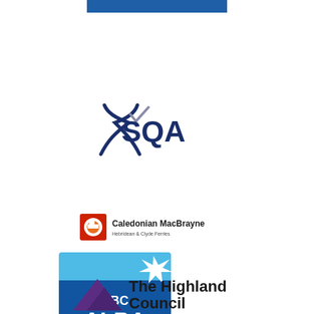[Figure (logo): Blue horizontal bar/banner at top center]
[Figure (logo): SQA (Scottish Qualifications Authority) logo with Scottish saltire cross and checkmark in navy and grey, text 'SQA' in dark blue]
[Figure (logo): Caledonian MacBrayne logo with red/orange ferry icon and text 'Caledonian MacBrayne Hebridean & Clyde Ferries']
[Figure (logo): BBC ALBA logo - blue square with white star/saltire and text 'BBC ALBA' in white on blue background]
[Figure (logo): The Highland Council logo with purple triangle mountain shape and text 'The Highland Council']